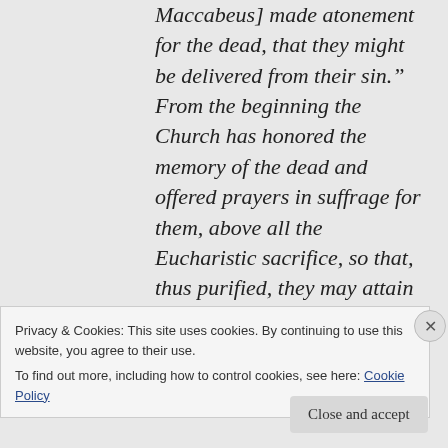Maccabeus] made atonement for the dead, that they might be delivered from their sin.” From the beginning the Church has honored the memory of the dead and offered prayers in suffrage for them, above all the Eucharistic sacrifice, so that, thus purified, they may attain the beatific vision of
Privacy & Cookies: This site uses cookies. By continuing to use this website, you agree to their use.
To find out more, including how to control cookies, see here: Cookie Policy